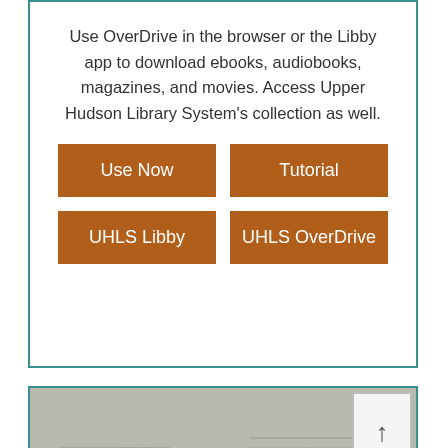Use OverDrive in the browser or the Libby app to download ebooks, audiobooks, magazines, and movies. Access Upper Hudson Library System's collection as well.
[Figure (infographic): Two rows of two orange buttons: 'Use Now', 'Tutorial', 'UHLS Libby', 'UHLS OverDrive']
[Figure (photo): Photo of stacked newspapers with 'Newspapers' text overlaid in bold black. A scroll-up arrow box in top-right corner.]
Access over 1,100 newspapers, 33 of which are from New York State,